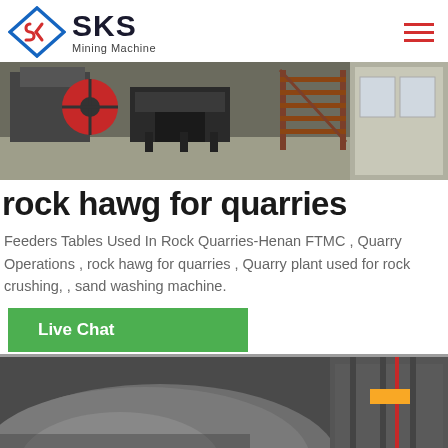[Figure (logo): SKS Mining Machine logo with diamond S icon in blue and red]
[Figure (photo): Industrial mining machinery with red wheel and metal staircase in a facility]
rock hawg for quarries
Feeders Tables Used In Rock Quarries-Henan FTMC , Quarry Operations , rock hawg for quarries , Quarry plant used for rock crushing, , sand washing machine.
[Figure (other): Green Live Chat button]
[Figure (photo): Close-up of industrial drum or cylindrical machinery equipment]